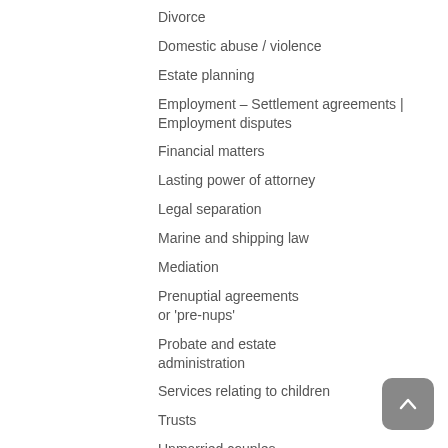Divorce
Domestic abuse / violence
Estate planning
Employment – Settlement agreements | Employment disputes
Financial matters
Lasting power of attorney
Legal separation
Marine and shipping law
Mediation
Prenuptial agreements or 'pre-nups'
Probate and estate administration
Services relating to children
Trusts
Unmarried couples
Will drafting